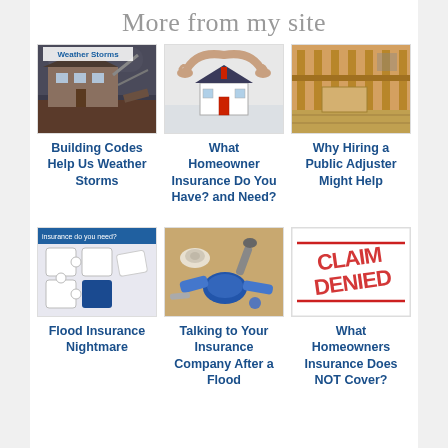More from my site
[Figure (photo): Storm-damaged house with debris]
[Figure (photo): Hands forming roof shape over model house]
[Figure (photo): Interior construction/flood damage room]
Building Codes Help Us Weather Storms
What Homeowner Insurance Do You Have? and Need?
Why Hiring a Public Adjuster Might Help
[Figure (photo): Puzzle pieces with insurance text overlay]
[Figure (photo): Blue plumbing parts and tools on floor]
[Figure (photo): Claim Denied rubber stamp sign]
Flood Insurance Nightmare
Talking to Your Insurance Company After a Flood
What Homeowners Insurance Does NOT Cover?